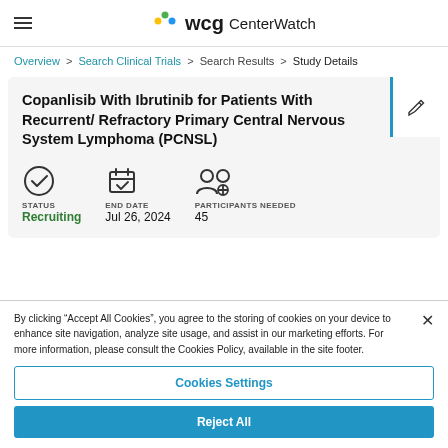WCG CenterWatch
Overview > Search Clinical Trials > Search Results > Study Details
Copanlisib With Ibrutinib for Patients With Recurrent/ Refractory Primary Central Nervous System Lymphoma (PCNSL)
STATUS: Recruiting | END DATE: Jul 26, 2024 | PARTICIPANTS NEEDED: 45
By clicking "Accept All Cookies", you agree to the storing of cookies on your device to enhance site navigation, analyze site usage, and assist in our marketing efforts. For more information, please consult the Cookies Policy, available in the site footer.
Cookies Settings
Reject All